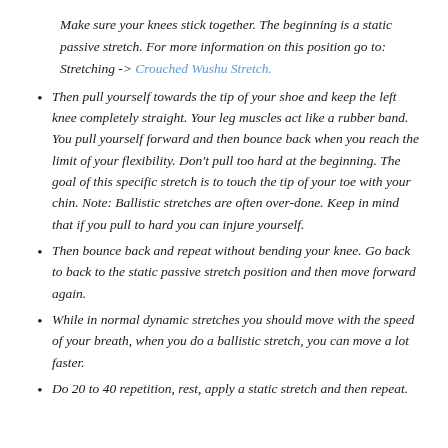Make sure your knees stick together. The beginning is a static passive stretch. For more information on this position go to: Stretching -> Crouched Wushu Stretch.
Then pull yourself towards the tip of your shoe and keep the left knee completely straight. Your leg muscles act like a rubber band. You pull yourself forward and then bounce back when you reach the limit of your flexibility. Don't pull too hard at the beginning. The goal of this specific stretch is to touch the tip of your toe with your chin. Note: Ballistic stretches are often over-done. Keep in mind that if you pull to hard you can injure yourself.
Then bounce back and repeat without bending your knee. Go back to back to the static passive stretch position and then move forward again.
While in normal dynamic stretches you should move with the speed of your breath, when you do a ballistic stretch, you can move a lot faster.
Do 20 to 40 repetition, rest, apply a static stretch and then repeat.